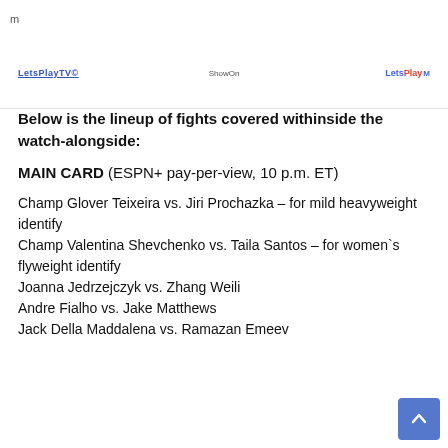m
[Figure (logo): LetsPlayTV logo on left, ShowOn text in center, LetsPlay badge logo on right]
Below is the lineup of fights covered withinside the watch-alongside:
MAIN CARD (ESPN+ pay-per-view, 10 p.m. ET)
Champ Glover Teixeira vs. Jiri Prochazka – for mild heavyweight identify
Champ Valentina Shevchenko vs. Taila Santos – for women`s flyweight identify
Joanna Jedrzejczyk vs. Zhang Weili
Andre Fialho vs. Jake Matthews
Jack Della Maddalena vs. Ramazan Emeev